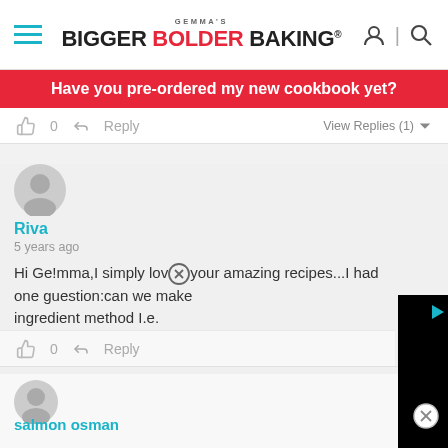[Figure (logo): Gemma's Bigger Bolder Baking logo with hamburger menu and icons]
Have you pre-ordered my new cookbook yet?
0  Reply  View Replies (1)
[Figure (illustration): User avatar circle for Riva]
Riva
5 years ago
Hi Ge!mma,I simply love your amazing recipes...I had one guestion:can we make  ingredient method I.e.  milk .Thank you
0  Reply
[Figure (screenshot): Black video panel overlay with play button]
[Figure (illustration): Second user avatar circle (partially visible)]
salmon osman